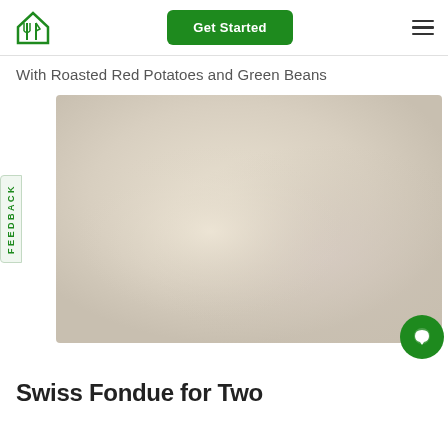Get Started
With Roasted Red Potatoes and Green Beans
[Figure (photo): Food photo showing a meal, blurred/placeholder image with soft warm tones]
Swiss Fondue for Two